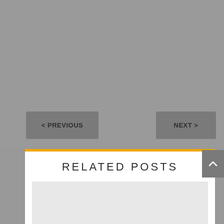[Figure (screenshot): Gray background area (main content area placeholder)]
< PREVIOUS
NEXT >
RELATED POSTS
[Figure (other): Light gray placeholder box for related post content]